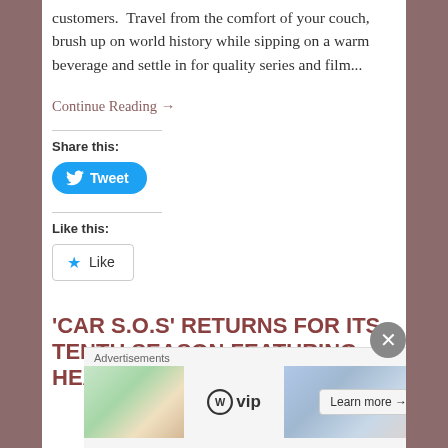customers.  Travel from the comfort of your couch, brush up on world history while sipping on a warm beverage and settle in for quality series and film...
Continue Reading →
Share this:
[Figure (other): Twitter Tweet button (blue rounded button with bird icon and 'Tweet' text)]
Like this:
[Figure (other): WordPress Like button (outlined button with blue star icon and 'Like' text)]
'CAR S.O.S' RETURNS FOR ITS TENTH SEASON FEATURING HEART-WARMING REAL-LIFE
[Figure (other): Advertisement banner: WordPress VIP ad with 'Learn more →' button and close (X) button]
Advertisements